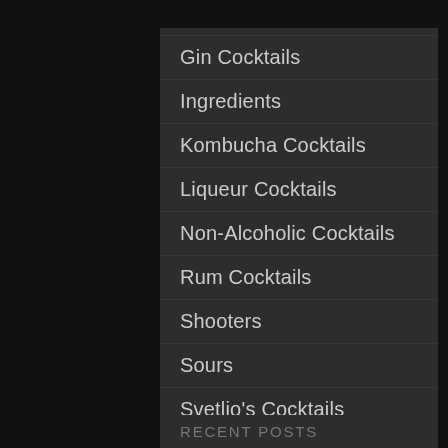Champagne Cocktails
Gin Cocktails
Ingredients
Kombucha Cocktails
Liqueur Cocktails
Non-Alcoholic Cocktails
Rum Cocktails
Shooters
Sours
Svetlio's Cocktails
Tequila Cocktails
Uncategorized
Vodka Cocktails
Whisky Cocktails
RECENT POSTS